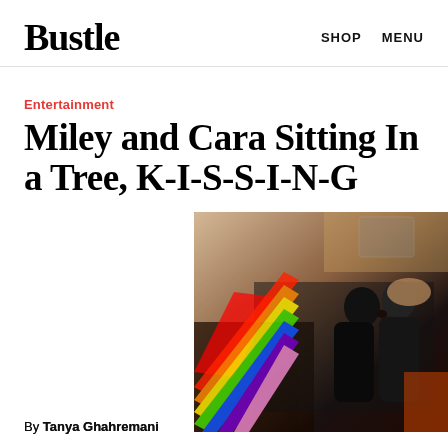Bustle   SHOP   MENU
Entertainment
Miley and Cara Sitting In a Tree, K-I-S-S-I-N-G
[Figure (photo): Two people kissing with a rainbow light effect overlaid on the image, dark background, indoor setting]
By Tanya Ghahremani